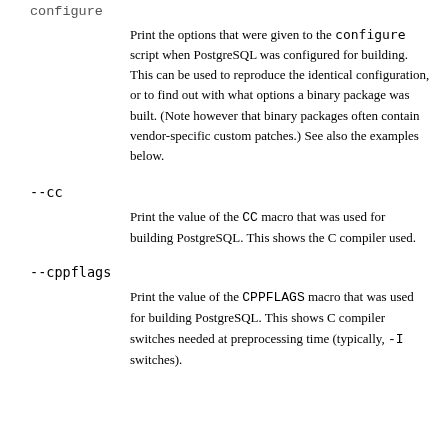--configure
Print the options that were given to the configure script when PostgreSQL was configured for building. This can be used to reproduce the identical configuration, or to find out with what options a binary package was built. (Note however that binary packages often contain vendor-specific custom patches.) See also the examples below.
--cc
Print the value of the CC macro that was used for building PostgreSQL. This shows the C compiler used.
--cppflags
Print the value of the CPPFLAGS macro that was used for building PostgreSQL. This shows C compiler switches needed at preprocessing time (typically, -I switches).